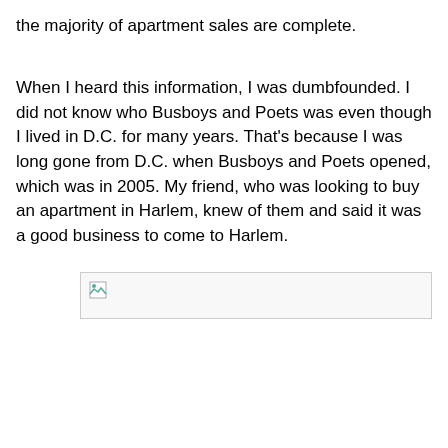the majority of apartment sales are complete.
When I heard this information, I was dumbfounded. I did not know who Busboys and Poets was even though I lived in D.C. for many years. That’s because I was long gone from D.C. when Busboys and Poets opened, which was in 2005. My friend, who was looking to buy an apartment in Harlem, knew of them and said it was a good business to come to Harlem.
[Figure (photo): Broken/unloaded image placeholder]